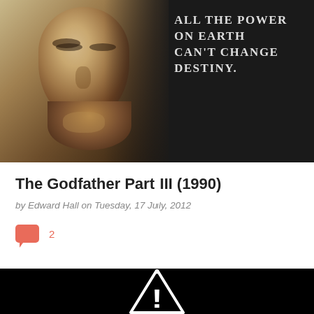[Figure (photo): Movie poster for The Godfather Part III showing a man's face in dark tones with the tagline 'ALL THE POWER ON EARTH CAN'T CHANGE DESTINY.' on the right side against a black background.]
The Godfather Part III (1990)
by Edward Hall on Tuesday, 17 July, 2012
2
[Figure (screenshot): Black video player area with a warning/error triangle icon (exclamation mark) indicating a video playback error.]